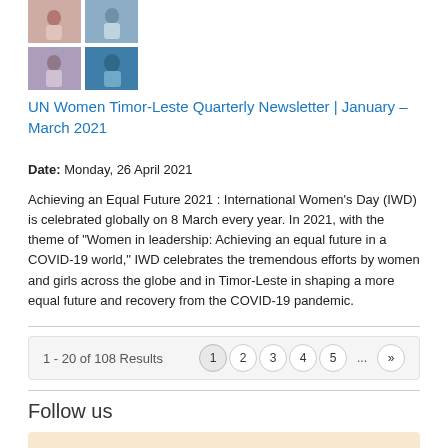[Figure (photo): 2x2 grid of photos showing women at events/conferences]
UN Women Timor-Leste Quarterly Newsletter | January &ndash; March 2021
Date: Monday, 26 April 2021
Achieving an Equal Future 2021 : International Women's Day (IWD) is celebrated globally on 8 March every year. In 2021, with the theme of "Women in leadership: Achieving an equal future in a COVID-19 world," IWD celebrates the tremendous efforts by women and girls across the globe and in Timor-Leste in shaping a more equal future and recovery from the COVID-19 pandemic.
1 - 20 of 108 Results
Follow us